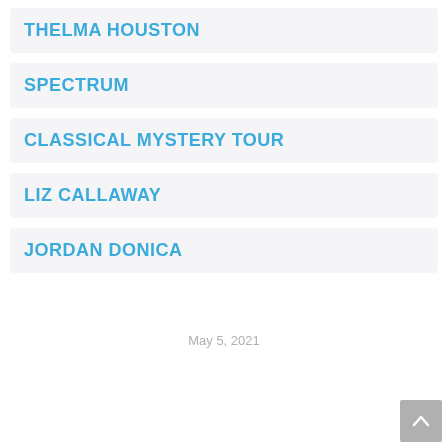THELMA HOUSTON
SPECTRUM
CLASSICAL MYSTERY TOUR
LIZ CALLAWAY
JORDAN DONICA
May 5, 2021